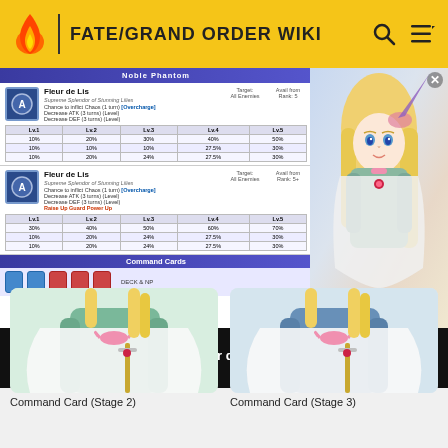FATE/GRAND ORDER WIKI
[Figure (screenshot): Noble Phantom skill table for Fleur de Lis showing two versions with stats at levels 1x1 through 1x5]
[Figure (photo): Anime illustration of Chevalier d'Eon character with blonde hair and medieval outfit]
[Figure (screenshot): Video player overlay showing 'FGO' Servant Spotlight: Chevalier d'Eon Analysis, Guide and Tips - WATCH 09:06]
[Figure (illustration): Command Card Stage 2 illustration of Chevalier d'Eon upper body]
[Figure (illustration): Command Card Stage 3 illustration of Chevalier d'Eon upper body]
Command Card (Stage 2)
Command Card (Stage 3)